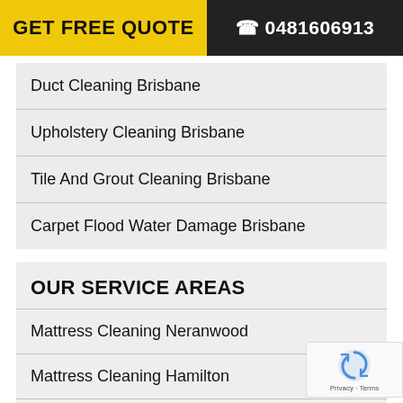GET FREE QUOTE   ☎ 0481606913
Duct Cleaning Brisbane
Upholstery Cleaning Brisbane
Tile And Grout Cleaning Brisbane
Carpet Flood Water Damage Brisbane
OUR SERVICE AREAS
Mattress Cleaning Neranwood
Mattress Cleaning Hamilton
Tile And Grout Cleaning Coolabine